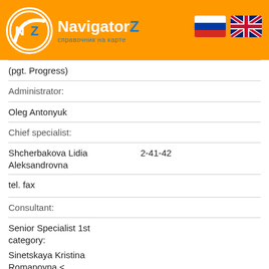NavigatorZ — справочник на карте
(pgt. Progress)
Administrator:
Oleg Antonyuk
Chief specialist:
Shcherbakova Lidia Aleksandrovna  2-41-42
tel. fax
Consultant:
Senior Specialist 1st category:
Sinetskaya Kristina Romanovna <
Senior Specialist 2nd category:
Kolmakova Olga Vladimirovna (archivist)
Registrar of the Court for